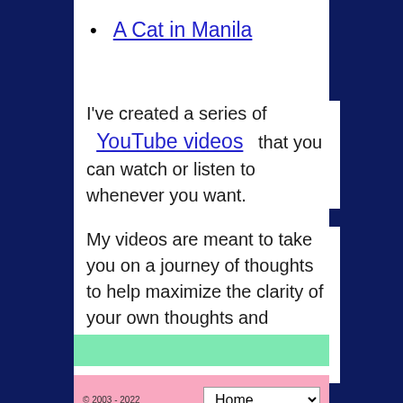A Cat in Manila
I've created a series of YouTube videos that you can watch or listen to whenever you want.
My videos are meant to take you on a journey of thoughts to help maximize the clarity of your own thoughts and approach to how you care for and love your pets.
© 2003 - 2022